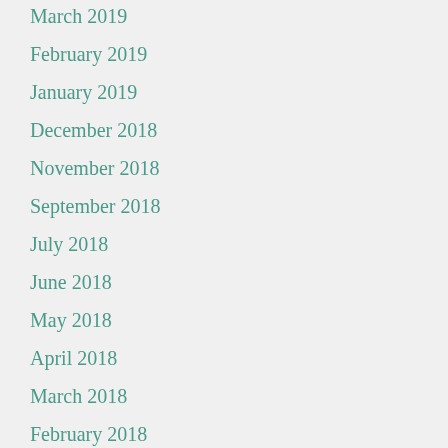March 2019
February 2019
January 2019
December 2018
November 2018
September 2018
July 2018
June 2018
May 2018
April 2018
March 2018
February 2018
January 2018
December 2017